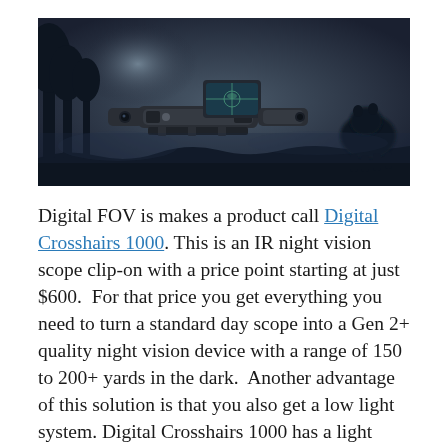[Figure (photo): Night vision scene showing a digital scope/clip-on device mounted on a rifle in the foreground, with a dark blue-grey outdoor nighttime forest background and a bear visible on the right side. The device has a screen showing a crosshair view.]
Digital FOV is makes a product call Digital Crosshairs 1000. This is an IR night vision scope clip-on with a price point starting at just $600. For that price you get everything you need to turn a standard day scope into a Gen 2+ quality night vision device with a range of 150 to 200+ yards in the dark. Another advantage of this solution is that you also get a low light system. Digital Crosshairs 1000 has a light sensitivity of .03 LUX which means at dusk and dawn you will be able to see deer stepping out of those